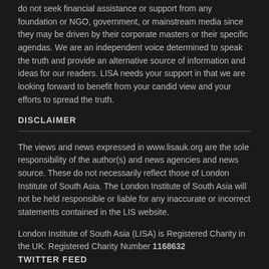do not seek financial assistance or support from any foundation or NGO, government, or mainstream media since they may be driven by their corporate masters or their specific agendas. We are an independent voice determined to speak the truth and provide an alternative source of information and ideas for our readers. LISA needs your support in that we are looking forward to benefit from your candid view and your efforts to spread the truth.
DISCLAIMER
The views and news expressed in www.lisauk.org are the sole responsibility of the author(s) and news agencies and news source. These do not necessarily reflect those of London Institute of South Asia. The London Institute of South Asia will not be held responsible or liable for any inaccurate or incorrect statements contained in the LIS website.
London Institute of South Asia (LISA) is Registered Charity in the UK. Registered Charity Number 1168632
TWITTER FEED